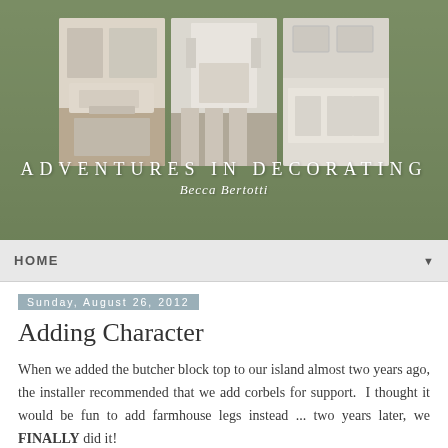[Figure (photo): Blog header banner for 'Adventures in Decorating' by Becca Bertotti. Three home interior photos (living room, kitchen, dining area) displayed side by side on a blurred outdoor background. Text overlay reads 'ADVENTURES IN DECORATING' and 'Becca Bertotti' in script.]
HOME
Sunday, August 26, 2012
Adding Character
When we added the butcher block top to our island almost two years ago, the installer recommended that we add corbels for support.  I thought it would be fun to add farmhouse legs instead ... two years later, we FINALLY did it!